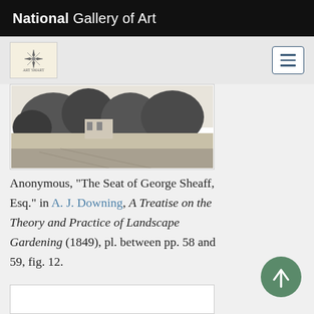National Gallery of Art
[Figure (screenshot): Navigation bar with NGA compass logo and hamburger menu button]
[Figure (illustration): Partially visible black and white engraving of a landscape garden scene with trees and a house]
Anonymous, "The Seat of George Sheaff, Esq." in A. J. Downing, A Treatise on the Theory and Practice of Landscape Gardening (1849), pl. between pp. 58 and 59, fig. 12.
[Figure (photo): Bottom portion of next image card, partially visible]